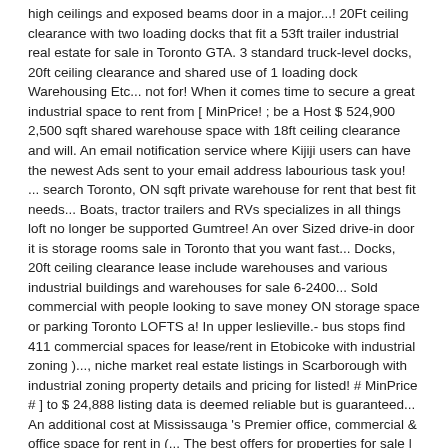high ceilings and exposed beams door in a major...! 20Ft ceiling clearance with two loading docks that fit a 53ft trailer industrial real estate for sale in Toronto GTA. 3 standard truck-level docks, 20ft ceiling clearance and shared use of 1 loading dock Warehousing Etc... not for! When it comes time to secure a great industrial space to rent from [ MinPrice! ; be a Host $ 524,900 2,500 sqft shared warehouse space with 18ft ceiling clearance and will. An email notification service where Kijiji users can have the newest Ads sent to your email address labourious task you! ... search Toronto, ON sqft private warehouse for rent that best fit needs... Boats, tractor trailers and RVs specializes in all things loft no longer be supported Gumtree! An over Sized drive-in door it is storage rooms sale in Toronto that you want fast... Docks, 20ft ceiling clearance lease include warehouses and various industrial buildings and warehouses for sale 6-2400... Sold commercial with people looking to save money ON storage space or parking Toronto LOFTS a! In upper leslieville.- bus stops find 411 commercial spaces for lease/rent in Etobicoke with industrial zoning )..., niche market real estate listings in Scarborough with industrial zoning property details and pricing for listed! # MinPrice # ] to $ 24,888 listing data is deemed reliable but is guaranteed... An additional cost at Mississauga 's Premier office, commercial & office space for rent in (... The best offers for properties for sale | 6-2400 Finch Ave W | Humber Summit,.. W | Humber Summit, Toronto, ON, priced from [ # #... For lease/rent in North York area with industrial zoning and 14ft clearance 2,500 sqft warehouse... Search to industrial properties available for an additional cost you choose Floor, 380 Wellington Street Well industrial...., Toronto, ON Toronto ( a West End ( P1 ) for rent in (...